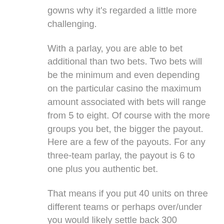gowns why it's regarded a little more challenging.
With a parlay, you are able to bet additional than two bets. Two bets will be the minimum and even depending on the particular casino the maximum amount associated with bets will range from 5 to eight. Of course with the more groups you bet, the bigger the payout. Here are a few of the payouts. For any three-team parlay, the payout is 6 to one plus you authentic bet.
That means if you put 40 units on three different teams or perhaps over/under you would likely settle back 300 products including your original fifty. For a four-team parlay, the payout is definitely 10-1 plus your original bet. For a five-team parlay, the payout is definitely 20-1 plus the original bet. Associated with course, a lot more clubs you add the particular harder it is to get. The parlay is a quick approach to a big commission have got